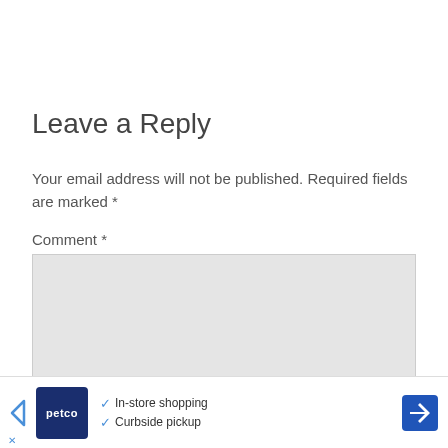Leave a Reply
Your email address will not be published. Required fields are marked *
Comment *
[Figure (screenshot): Comment text area input box (empty, light gray background)]
[Figure (screenshot): Petco advertisement banner with logo, checkmarks for In-store shopping and Curbside pickup, navigation arrow icon]